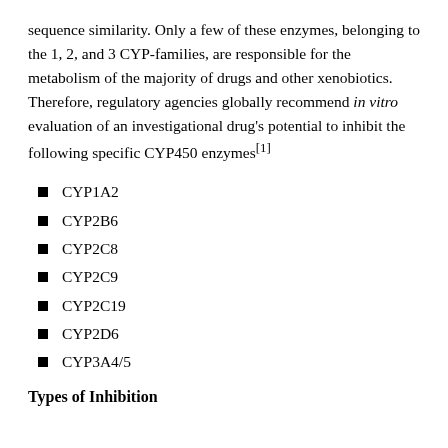sequence similarity. Only a few of these enzymes, belonging to the 1, 2, and 3 CYP-families, are responsible for the metabolism of the majority of drugs and other xenobiotics. Therefore, regulatory agencies globally recommend in vitro evaluation of an investigational drug’s potential to inhibit the following specific CYP450 enzymes[1]
CYP1A2
CYP2B6
CYP2C8
CYP2C9
CYP2C19
CYP2D6
CYP3A4/5
Types of Inhibition